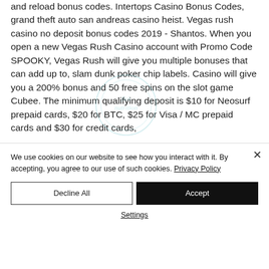and reload bonus codes. Intertops Casino Bonus Codes, grand theft auto san andreas casino heist. Vegas rush casino no deposit bonus codes 2019 - Shantos. When you open a new Vegas Rush Casino account with Promo Code SPOOKY, Vegas Rush will give you multiple bonuses that can add up to, slam dunk poker chip labels. Casino will give you a 200% bonus and 50 free spins on the slot game Cubee. The minimum qualifying deposit is $10 for Neosurf prepaid cards, $20 for BTC, $25 for Visa / MC prepaid cards and $30 for credit cards,
We use cookies on our website to see how you interact with it. By accepting, you agree to our use of such cookies. Privacy Policy
Decline All
Accept
Settings